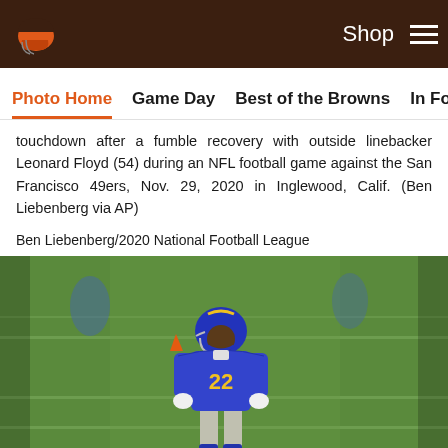Cleveland Browns website navigation — Shop | Menu
Photo Home | Game Day | Best of the Browns | In Focus | Practice
touchdown after a fumble recovery with outside linebacker Leonard Floyd (54) during an NFL football game against the San Francisco 49ers, Nov. 29, 2020 in Inglewood, Calif. (Ben Liebenberg via AP)
Ben Liebenberg/2020 National Football League
[Figure (photo): LA Rams player number 22 in purple and gold uniform standing on green football field, viewed from the front]